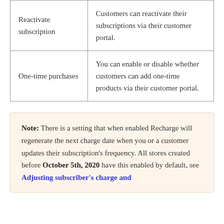| Reactivate subscription | Customers can reactivate their subscriptions via their customer portal. |
| One-time purchases | You can enable or disable whether customers can add one-time products via their customer portal. |
Note: There is a setting that when enabled Recharge will regenerate the next charge date when you or a customer updates their subscription's frequency. All stores created before October 5th, 2020 have this enabled by default, see Adjusting subscriber's charge and